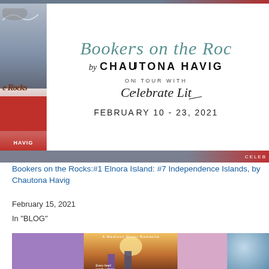[Figure (illustration): Banner image for 'Bookers on the Rocks' book tour. Left side shows the book cover with ocean/rocks imagery and red spine with 'HAVIG' text. Right side shows decorative script title 'Bookers on the Roc', author 'by Chautona Havig', 'ON TOUR WITH Celebrate Lit', and 'FEBRUARY 10 - 23, 2021'.]
Bookers on the Rocks:#1 Elnora Island: #7 Independence Islands, by Chautona Havig
February 15, 2021
In "BLOG"
[Figure (photo): Bottom portion of a book cover showing a man and woman standing on a road at sunset with text 'A Madison River Romance' and 'Every heart needs a home...' Flanked by purple background on left and pink background with globe on right.]